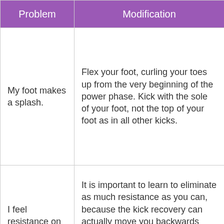| Problem | Modification |
| --- | --- |
| My foot makes a splash. | Flex your foot, curling your toes up from the very beginning of the power phase. Kick with the sole of your foot, not the top of your foot as in all other kicks. |
| I feel resistance on the recovery. | It is important to learn to eliminate as much resistance as you can, because the kick recovery can actually move you backwards done incorrectly. Try keeping your knees still while you move your heels back and up slowly |